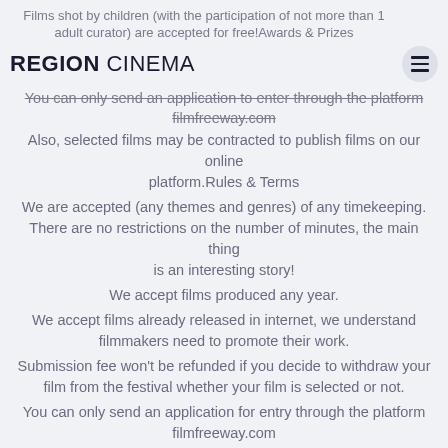Films shot by children (with the participation of not more than 1 adult curator) are accepted for free!Awards & Prizes
REGION CINEMA
You can only send an application to enter through the platform filmfreeway.com
Also, selected films may be contracted to publish films on our online platform.Rules & Terms
We are accepted (any themes and genres) of any timekeeping. There are no restrictions on the number of minutes, the main thing is an interesting story!
We accept films produced any year.
We accept films already released in internet, we understand filmmakers need to promote their work.
Submission fee won't be refunded if you decide to withdraw your film from the festival whether your film is selected or not.
You can only send an application for entry through the platform filmfreeway.com
All rights (including music, scripts and other) must be reserved. The creators of the film are fully responsible for the observance of rights.
By sending an application you give consent to allow us to process your data and show your work for non-commercial purposes as